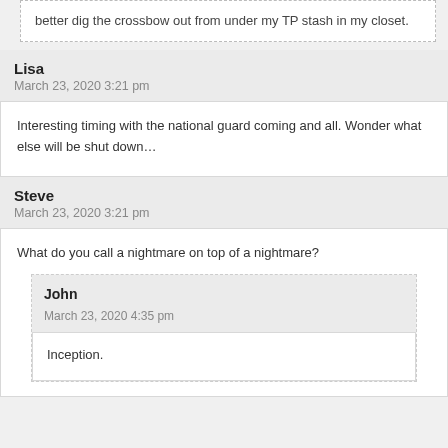better dig the crossbow out from under my TP stash in my closet.
Lisa
March 23, 2020 3:21 pm
Interesting timing with the national guard coming and all. Wonder what else will be shut down…
Steve
March 23, 2020 3:21 pm
What do you call a nightmare on top of a nightmare?
John
March 23, 2020 4:35 pm
Inception.